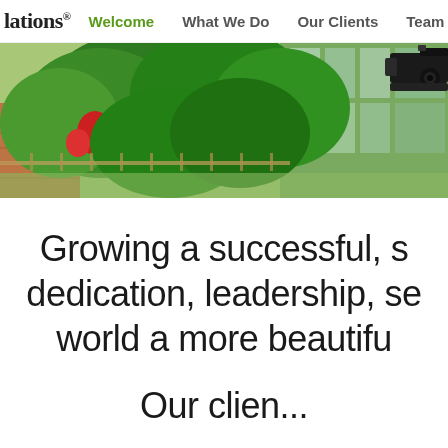lations® Welcome  What We Do  Our Clients  Team
[Figure (photo): Outdoor photo showing lush green trees and flowering plants in front of a glass building, with a video camera on the right side]
Growing a successful, s dedication, leadership, se world a more beautifu
Our clien...